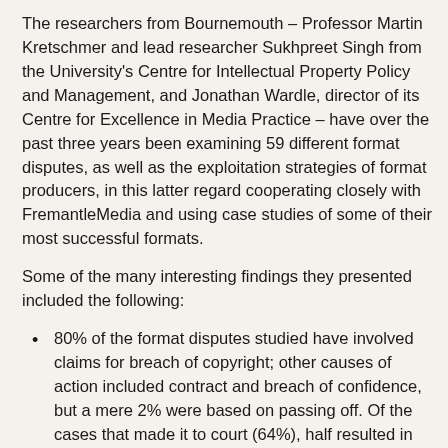The researchers from Bournemouth – Professor Martin Kretschmer and lead researcher Sukhpreet Singh from the University's Centre for Intellectual Property Policy and Management, and Jonathan Wardle, director of its Centre for Excellence in Media Practice – have over the past three years been examining 59 different format disputes, as well as the exploitation strategies of format producers, in this latter regard cooperating closely with FremantleMedia and using case studies of some of their most successful formats.
Some of the many interesting findings they presented included the following:
80% of the format disputes studied have involved claims for breach of copyright; other causes of action included contract and breach of confidence, but a mere 2% were based on passing off. Of the cases that made it to court (64%), half resulted in victory for the claimants and half for the defendants.
Although there are potential legal causes of action to protect formats, the apparent uncertainty of relying on